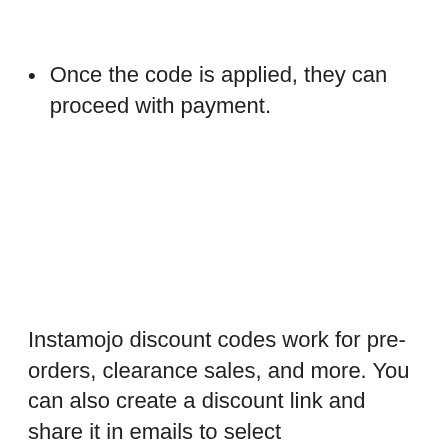Once the code is applied, they can proceed with payment.
Instamojo discount codes work for pre-orders, clearance sales, and more. You can also create a discount link and share it in emails to select